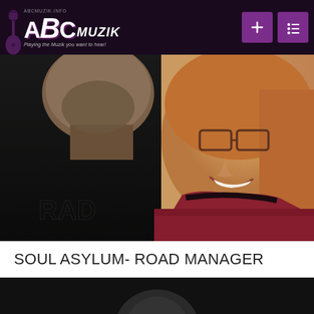abcmuzik.info — ABC Muzik — Playing the Muzik you want to hear!
[Figure (photo): Two people posing together: on the left, the back of a man's head wearing a black t-shirt with text 'RAD'; on the right, a smiling woman with glasses and auburn hair wearing a dark-trimmed pink/maroon sweater.]
SOUL ASYLUM- ROAD MANAGER
[Figure (photo): Bottom portion of a second photo, showing a dark background with the top of a person's head barely visible.]